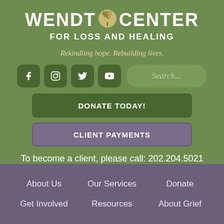WENDT CENTER FOR LOSS AND HEALING
Rekindling hope. Rebuilding lives.
[Figure (infographic): Social media icon buttons for Facebook, Instagram, Twitter, YouTube, and a Search field]
DONATE TODAY!
CLIENT PAYMENTS
To become a client, please call: 202.204.5021
About Us
Our Services
Donate
Get Involved
Resources
About Grief